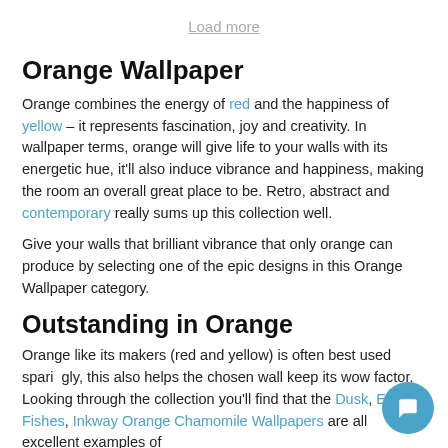Load more
Orange Wallpaper
Orange combines the energy of red and the happiness of yellow – it represents fascination, joy and creativity. In wallpaper terms, orange will give life to your walls with its energetic hue, it'll also induce vibrance and happiness, making the room an overall great place to be. Retro, abstract and contemporary really sums up this collection well.
Give your walls that brilliant vibrance that only orange can produce by selecting one of the epic designs in this Orange Wallpaper category.
Outstanding in Orange
Orange like its makers (red and yellow) is often best used sparingly, this also helps the chosen wall keep its wow factor. Looking through the collection you'll find that the Dusk, Earth Fishes, Inkway and Orange Chamomile Wallpapers are all excellent examples of